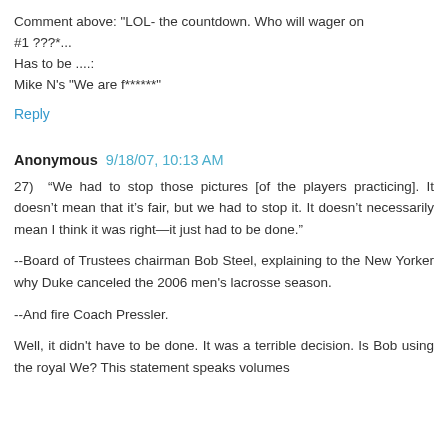Comment above: "LOL- the countdown. Who will wager on #1 ???*...
Has to be ....:
Mike N's "We are f******"
Reply
Anonymous 9/18/07, 10:13 AM
27)  “We had to stop those pictures [of the players practicing]. It doesn’t mean that it’s fair, but we had to stop it. It doesn’t necessarily mean I think it was right—it just had to be done.”
--Board of Trustees chairman Bob Steel, explaining to the New Yorker why Duke canceled the 2006 men's lacrosse season.
--And fire Coach Pressler.
Well, it didn't have to be done. It was a terrible decision. Is Bob using the royal We? This statement speaks volumes about the sort of leadership that failed the lacrosse team.